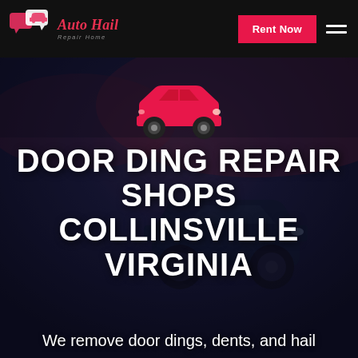Auto Hail Repair Home | Rent Now
[Figure (screenshot): Auto Hail Repair Home website screenshot showing navigation bar with logo, Rent Now button, and hamburger menu on black background]
[Figure (illustration): Red car silhouette icon centered on dark hero background]
DOOR DING REPAIR SHOPS COLLINSVILLE VIRGINIA
We remove door dings, dents, and hail